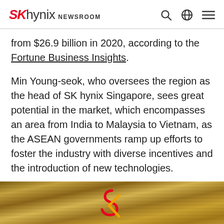SK hynix NEWSROOM
from $26.9 billion in 2020, according to the Fortune Business Insights.
Min Young-seok, who oversees the region as the head of SK hynix Singapore, sees great potential in the market, which encompasses an area from India to Malaysia to Vietnam, as the ASEAN governments ramp up efforts to foster the industry with diverse incentives and the introduction of new technologies.
[Figure (photo): Bottom portion of a photo showing layered/stacked materials (appears to be semiconductor wafers or similar) with a yellow/orange SK hynix logo partially visible at the bottom center]